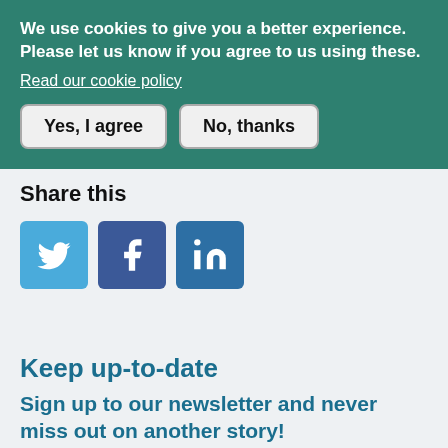We use cookies to give you a better experience. Please let us know if you agree to us using these.
Read our cookie policy
Yes, I agree
No, thanks
Share this
[Figure (other): Social media share buttons: Twitter (blue bird icon), Facebook (dark blue f icon), LinkedIn (dark blue in icon)]
Keep up-to-date
Sign up to our newsletter and never miss out on another story!
Enter your email address